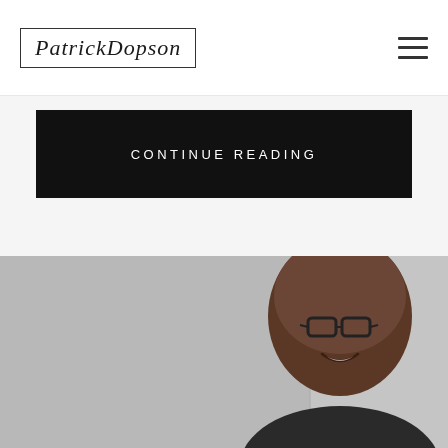Patrick Dopson — logo and navigation
CONTINUE READING
[Figure (photo): Portrait photo of a bald man wearing glasses, smiling, photographed from the shoulders up against a light gray background with a vertical dividing line visible]